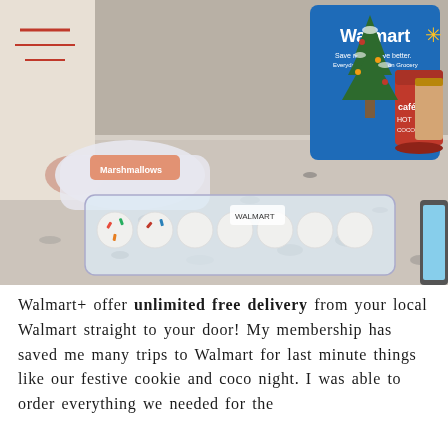[Figure (photo): A photo of Walmart grocery items on a granite kitchen counter. A blue Walmart shopping bag is visible in the background with the Walmart logo and spark symbol. In the foreground is a clear plastic tray of white frosted cookies with colorful sprinkles, a bag of marshmallows, and a red canister of hot cocoa mix. A small decorated Christmas tree and a candle are visible in the background. A person in a white winter sweater is partially visible on the left. A tablet or laptop is partially visible on the right edge.]
Walmart+ offer unlimited free delivery from your local Walmart straight to your door! My membership has saved me many trips to Walmart for last minute things like our festive cookie and coco night. I was able to order everything we needed for the